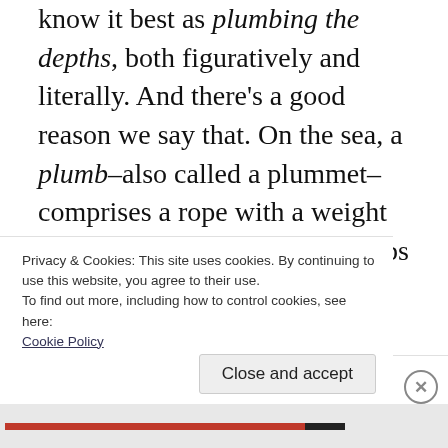know it best as plumbing the depths, both figuratively and literally. And there’s a good reason we say that. On the sea, a plumb–also called a plummet–comprises a rope with a weight fixed to one end. It, well, plumbs the depths of the water. In fathoms, I suspect.
On land, a plumb–or a plumb line or plumb-bob–similarly comprised some string with a
Privacy & Cookies: This site uses cookies. By continuing to use this website, you agree to their use.
To find out more, including how to control cookies, see here:
Cookie Policy
Close and accept